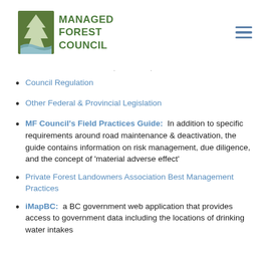[Figure (logo): Managed Forest Council logo with green tree/wave icon and blue text]
Council Regulation
Other Federal & Provincial Legislation
MF Council's Field Practices Guide:  In addition to specific requirements around road maintenance & deactivation, the guide contains information on risk management, due diligence, and the concept of 'material adverse effect'
Private Forest Landowners Association Best Management Practices
iMapBC:  a BC government web application that provides access to government data including the locations of drinking water intakes